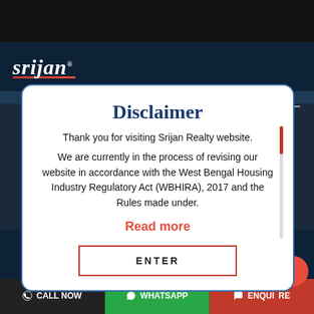[Figure (screenshot): Srijan Realty website screenshot showing navigation bar with 'srijan' logo and hamburger menu on dark navy background]
Disclaimer
Thank you for visiting Srijan Realty website.
We are currently in the process of revising our website in accordance with the West Bengal Housing Industry Regulatory Act (WBHIRA), 2017 and the Rules made under.
Read more
ENTER
Chat Now
Name
Mobile Number
CALL NOW   WHATSAPP   ENQUIRE